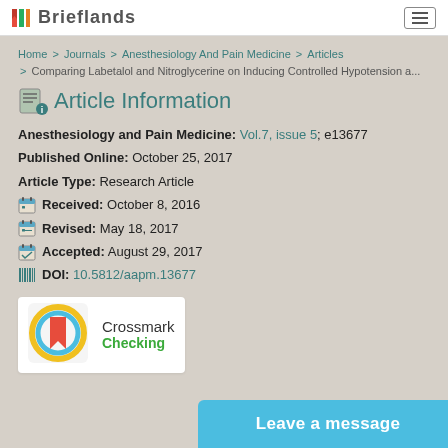Brieflands
Home > Journals > Anesthesiology And Pain Medicine > Articles > Comparing Labetalol and Nitroglycerine on Inducing Controlled Hypotension a...
Article Information
Anesthesiology and Pain Medicine: Vol.7, issue 5; e13677
Published Online: October 25, 2017
Article Type: Research Article
Received: October 8, 2016
Revised: May 18, 2017
Accepted: August 29, 2017
DOI: 10.5812/aapm.13677
[Figure (logo): Crossmark logo - circular badge with red bookmark on yellow/teal background]
Crossmark
Checking
Leave a message